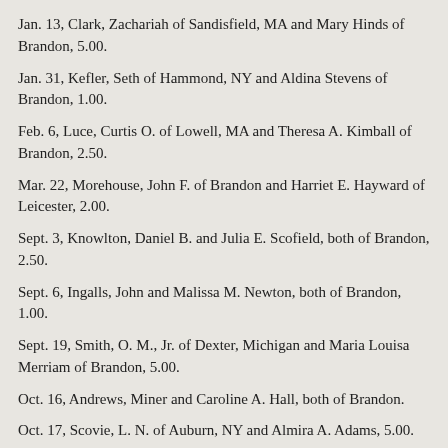Jan. 13, Clark, Zachariah of Sandisfield, MA and Mary Hinds of Brandon, 5.00.
Jan. 31, Kefler, Seth of Hammond, NY and Aldina Stevens of Brandon, 1.00.
Feb. 6, Luce, Curtis O. of Lowell, MA and Theresa A. Kimball of Brandon, 2.50.
Mar. 22, Morehouse, John F. of Brandon and Harriet E. Hayward of Leicester, 2.00.
Sept. 3, Knowlton, Daniel B. and Julia E. Scofield, both of Brandon, 2.50.
Sept. 6, Ingalls, John and Malissa M. Newton, both of Brandon, 1.00.
Sept. 19, Smith, O. M., Jr. of Dexter, Michigan and Maria Louisa Merriam of Brandon, 5.00.
Oct. 16, Andrews, Miner and Caroline A. Hall, both of Brandon.
Oct. 17, Scovie, L. N. of Auburn, NY and Almira A. Adams, 5.00.
Oct. 31, Leonard, Julius and Betsey W. Walker, both of Brandon,